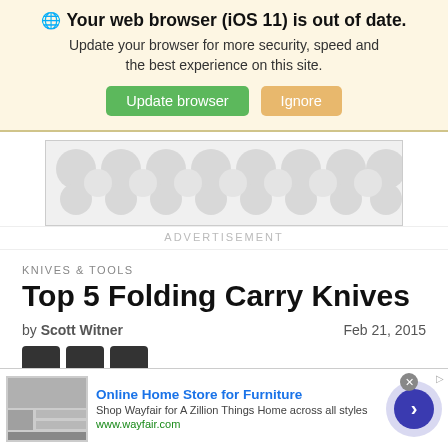🌐 Your web browser (iOS 11) is out of date. Update your browser for more security, speed and the best experience on this site.
[Figure (screenshot): Advertisement placeholder with repeating circular dot pattern]
ADVERTISEMENT
KNIVES & TOOLS
Top 5 Folding Carry Knives
by Scott Witner   Feb 21, 2015
[Figure (screenshot): Bottom ad banner: Online Home Store for Furniture — Shop Wayfair for A Zillion Things Home across all styles — www.wayfair.com]